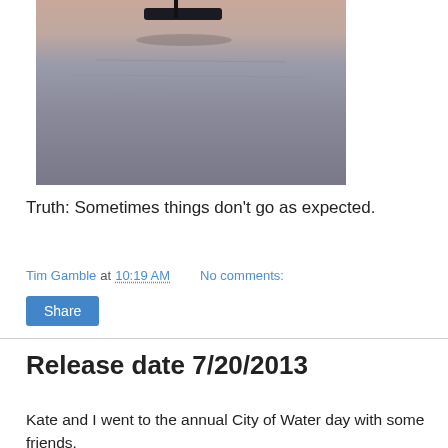[Figure (photo): Photograph of a body of water with a small boat/dock visible near the top, reflected in calm gray-blue water, pinkish sky at top.]
Truth: Sometimes things don't go as expected.
Tim Gamble at 10:19 AM   No comments:
Share
Release date 7/20/2013
Kate and I went to the annual City of Water day with some friends.